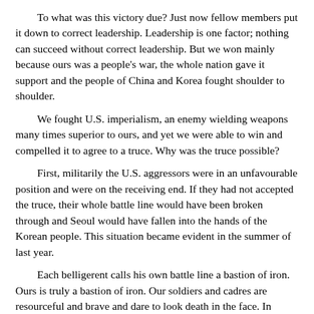To what was this victory due? Just now fellow members put it down to correct leadership. Leadership is one factor; nothing can succeed without correct leadership. But we won mainly because ours was a people's war, the whole nation gave it support and the people of China and Korea fought shoulder to shoulder.
We fought U.S. imperialism, an enemy wielding weapons many times superior to ours, and yet we were able to win and compelled it to agree to a truce. Why was the truce possible?
First, militarily the U.S. aggressors were in an unfavourable position and were on the receiving end. If they had not accepted the truce, their whole battle line would have been broken through and Seoul would have fallen into the hands of the Korean people. This situation became evident in the summer of last year.
Each belligerent calls his own battle line a bastion of iron. Ours is truly a bastion of iron. Our soldiers and cadres are resourceful and brave and dare to look death in the face. In contrast the U.S. aggressor troops are afraid of death, and their officers are rather rigid, not very flexible. Their battle line is not solid and is anything but a bastion of iron.